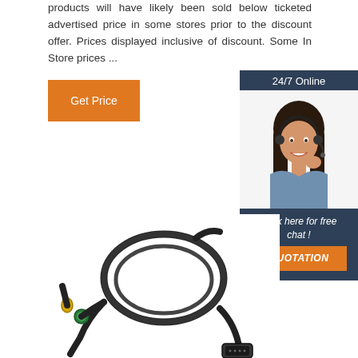products will have likely been sold below ticketed advertised price in some stores prior to the discount offer. Prices displayed inclusive of discount. Some In Store prices ...
[Figure (other): Orange 'Get Price' button]
[Figure (other): 24/7 Online support banner with photo of female customer service agent wearing headset, and 'Click here for free chat!' text with orange QUOTATION button]
[Figure (photo): Black electrical cable/wiring harness with connectors, coiled, on white background]